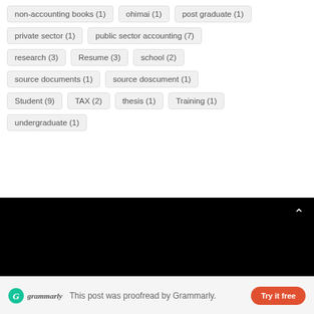non-accounting books (1)
ohimai (1)
post graduate (1)
private sector (1)
public sector accounting (7)
research (3)
Resume (3)
school (2)
source documents (1)
source doscument (1)
Student (9)
TAX (2)
thesis (1)
Training (1)
undergraduate (1)
[Figure (screenshot): Dark/black banner area with white chevron (up arrow) icon in top-right corner]
This post was proofread by Grammarly.